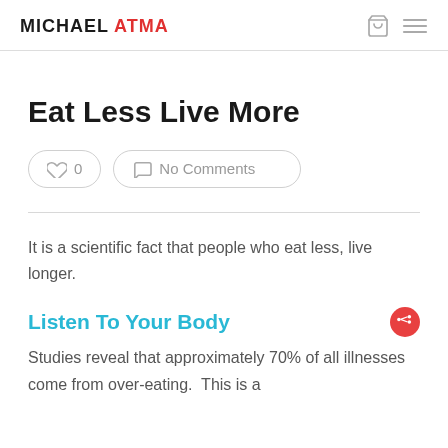MICHAEL ATMA
Eat Less Live More
0   No Comments
It is a scientific fact that people who eat less, live longer.
Listen To Your Body
Studies reveal that approximately 70% of all illnesses come from over-eating.  This is a